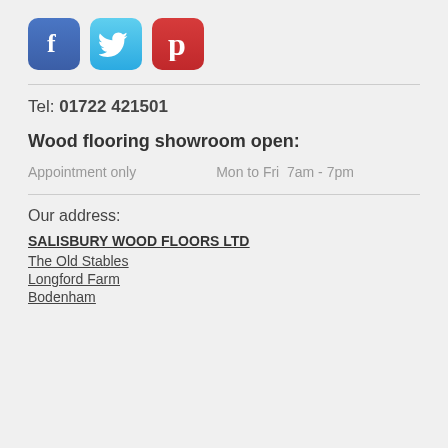[Figure (logo): Three social media icons: Facebook (blue), Twitter (light blue), Pinterest (red)]
Tel: 01722 421501
Wood flooring showroom open:
Appointment only    Mon to Fri  7am - 7pm
Our address:
SALISBURY WOOD FLOORS LTD
The Old Stables
Longford Farm
Bodenham